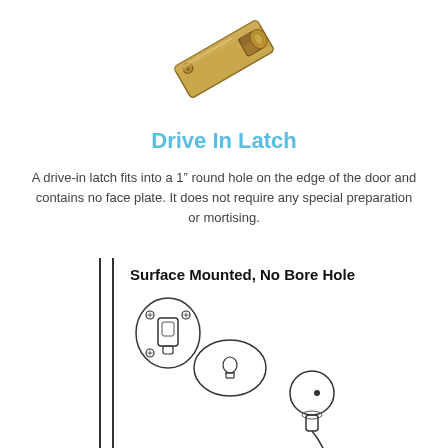[Figure (photo): A gold/bronze colored drive-in latch hardware piece, photographed at an angle showing its rectangular body with a spring bolt and screw hole.]
Drive In Latch
A drive-in latch fits into a 1” round hole on the edge of the door and contains no face plate. It does not require any special preparation or mortising.
[Figure (engineering-diagram): Engineering diagram labeled 'Surface Mounted, No Bore Hole' showing exploded view of a surface mounted door latch assembly with mounting plate, cylinder, rose/escutcheon, and knob with wire/cable.]